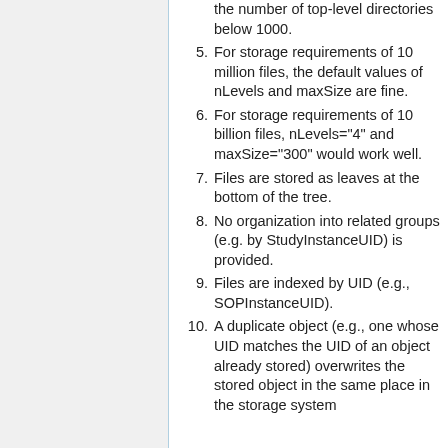the number of top-level directories below 1000.
5. For storage requirements of 10 million files, the default values of nLevels and maxSize are fine.
6. For storage requirements of 10 billion files, nLevels="4" and maxSize="300" would work well.
7. Files are stored as leaves at the bottom of the tree.
8. No organization into related groups (e.g. by StudyInstanceUID) is provided.
9. Files are indexed by UID (e.g., SOPInstanceUID).
10. A duplicate object (e.g., one whose UID matches the UID of an object already stored) overwrites the stored object in the same place in the storage system